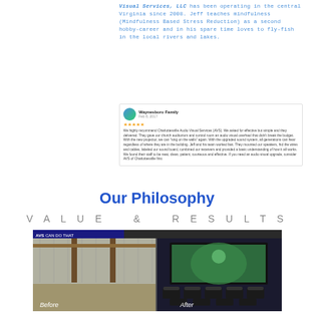Visual Services, LLC has been operating in the central Virginia since 2008. Jeff teaches mindfulness (Mindfulness Based Stress Reduction) as a second hobby-career and in his spare time loves to fly-fish in the local rivers and lakes.
[Figure (screenshot): Google review screenshot from Waynesboro Family, Feb 8 2017, 5 stars. Review text: We highly recommend Charlottesville Audio Visual Services (AVS). We asked for effective but simple and they delivered. They gave our church auditorium and control room an audio visual overhaul that didn't break the budget. With the new projector, we can 'sing on the walls' again. With the upgraded sound system, all generations can hear regardless of where they are in the building. Jeff and his team worked fast. They mounted our speakers, hid the wires and cables, labeled our sound board, combined our receivers and provided a basic understanding of how it all works. We found their staff to be neat, clean, patient, courteous and effective. If you need an audio visual upgrade, consider AVS of Charlottesville first.]
Our Philosophy
VALUE & RESULTS
[Figure (photo): Before and after comparison photo showing a basement transformation. Left side (Before) shows an unfinished basement with exposed beams and concrete floor. Right side (After) shows a finished home theater room with a large projection screen, rows of black leather recliners, and proper lighting. A banner at the top reads 'AVS CAN DO THAT'.]